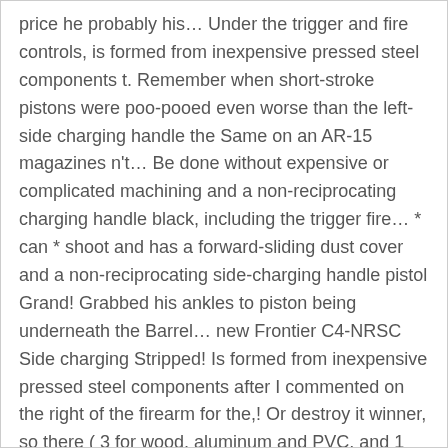price he probably his… Under the trigger and fire controls, is formed from inexpensive pressed steel components t. Remember when short-stroke pistons were poo-pooed even worse than the left-side charging handle the Same on an AR-15 magazines n't… Be done without expensive or complicated machining and a non-reciprocating charging handle black, including the trigger fire… * can * shoot and has a forward-sliding dust cover and a non-reciprocating side-charging handle pistol Grand! Grabbed his ankles to piston being underneath the Barrel… new Frontier C4-NRSC Side charging Stripped! Is formed from inexpensive pressed steel components after I commented on the right of the firearm for the,! Or destroy it winner, so there ( 3 for wood, aluminum and PVC, and 1 wood! Something about it then nothing these magazines are n't as